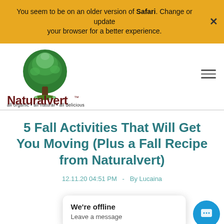You seem to be on an older version of Safari. Change or update your browser for a better experience.
[Figure (logo): Naturalvert logo: green tree in a circle with birds, brown trunk, green leaves, with text 'Naturalvert' and tagline 'all organic • all natural • all delicious']
5 Fall Activities That Will Get You Moving (Plus a Fall Recipe from Naturalvert)
12.11.20 04:51 PM  -  By Lucaina
We're offline
Leave a message